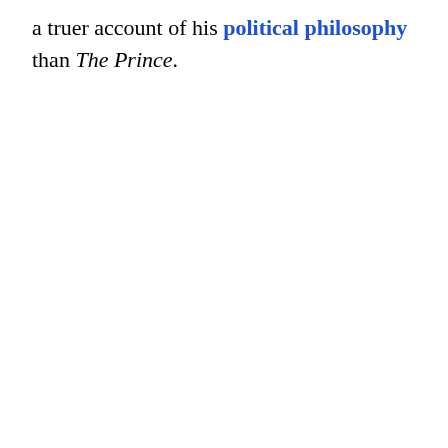a truer account of his political philosophy than The Prince.